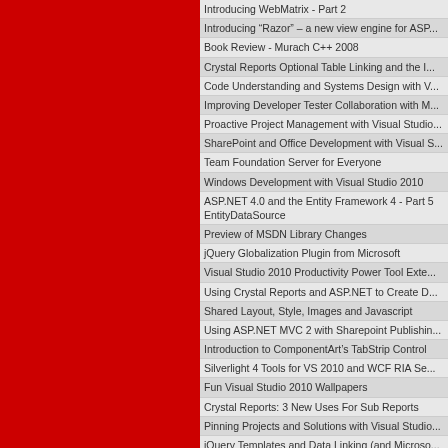Introducing WebMatrix - Part 2
Introducing “Razor” – a new view engine for ASP...
Book Review - Murach C++ 2008
Crystal Reports Optional Table Linking and the I...
Code Understanding and Systems Design with V...
Improving Developer Tester Collaboration with M...
Proactive Project Management with Visual Studio...
SharePoint and Office Development with Visual S...
Team Foundation Server for Everyone
Windows Development with Visual Studio 2010
ASP.NET 4.0 and the Entity Framework 4 - Part 5 EntityDataSource
Preview of MSDN Library Changes
jQuery Globalization Plugin from Microsoft
Visual Studio 2010 Productivity Power Tool Exte...
Using Crystal Reports and ASP.NET to Create D...
Shared Layout, Style, Images and Javascript
Using ASP.NET MVC 2 with Sharepoint Publishin...
Introduction to ComponentArt’s TabStrip Control
Silverlight 4 Tools for VS 2010 and WCF RIA Se...
Fun Visual Studio 2010 Wallpapers
Crystal Reports: 3 New Uses For Sub Reports
Pinning Projects and Solutions with Visual Studio...
jQuery Templates and Data Linking (and Microso...
ASP.NET 4.0 and the Entity Framework 4 - Part 4 Framework
Visual Studio 2010 Extension Manager (and the...
Strategies for memory profiling
Download and Share Visual Studio Color Schem...
Using Variables Within Crystal Report Formulas...